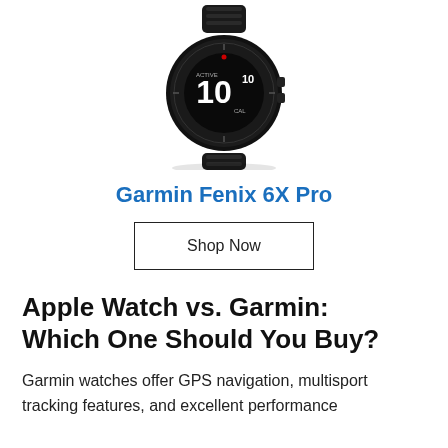[Figure (photo): Garmin Fenix 6X Pro smartwatch, black case with black band, displaying number 10 on screen, shown at an angle from above]
Garmin Fenix 6X Pro
Shop Now
Apple Watch vs. Garmin: Which One Should You Buy?
Garmin watches offer GPS navigation, multisport tracking features, and excellent performance